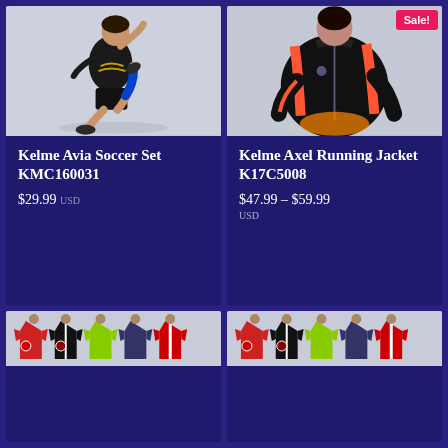[Figure (photo): Male soccer player in black kit with blue socks mid-kick against light background]
Kelme Avia Soccer Set KMC160031
$29.99 USD
[Figure (photo): Female athlete wearing black and coral/orange Kelme running jacket, seated, with Sale! badge]
Kelme Axel Running Jacket K17C5008
$47.99 – $59.99 USD
[Figure (photo): Multiple soccer jerseys in various colors displayed side by side]
[Figure (photo): Multiple soccer jerseys in various colors displayed side by side]